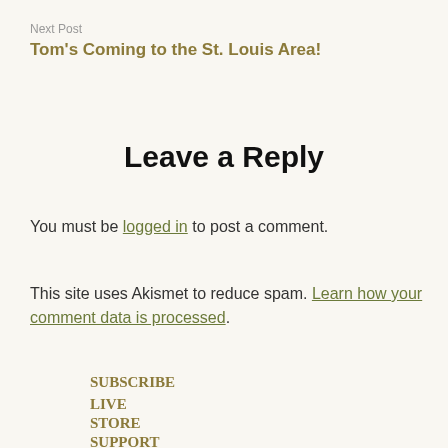Next Post
Tom's Coming to the St. Louis Area!
Leave a Reply
You must be logged in to post a comment.
This site uses Akismet to reduce spam. Learn how your comment data is processed.
SUBSCRIBE
LIVE
STORE
SUPPORT